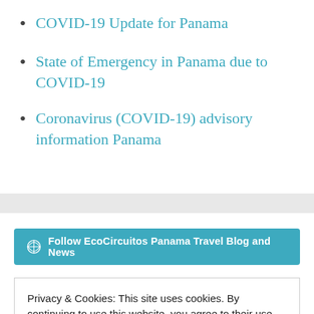COVID-19 Update for Panama
State of Emergency in Panama due to COVID-19
Coronavirus (COVID-19) advisory information Panama
Follow EcoCircuitos Panama Travel Blog and News
Privacy & Cookies: This site uses cookies. By continuing to use this website, you agree to their use.
To find out more, including how to control cookies, see here:
Cookie Policy
Close and accept